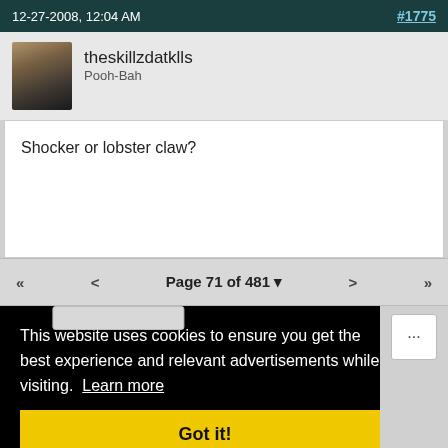12-27-2008, 12:04 AM  #1775
theskillzdatklls
Pooh-Bah
Shocker or lobster claw?
Page 71 of 481
This website uses cookies to ensure you get the best experience and relevant advertisements while visiting. Learn more
Got it!